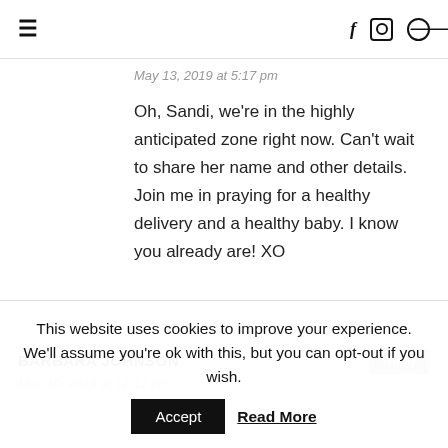≡   f  [instagram]  [pinterest]
May 13, 2019 at 5:17 pm
Oh, Sandi, we're in the highly anticipated zone right now. Can't wait to share her name and other details. Join me in praying for a healthy delivery and a healthy baby. I know you already are! XO
BARBARA JOHNSON
Reply
May 10, 2019 at 12:11 pm
This website uses cookies to improve your experience. We'll assume you're ok with this, but you can opt-out if you wish.
Accept
Read More